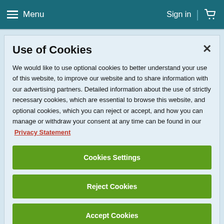Menu  Sign in
Use of Cookies
We would like to use optional cookies to better understand your use of this website, to improve our website and to share information with our advertising partners. Detailed information about the use of strictly necessary cookies, which are essential to browse this website, and optional cookies, which you can reject or accept, and how you can manage or withdraw your consent at any time can be found in our Privacy Statement
Cookies Settings
Reject Cookies
Accept Cookies